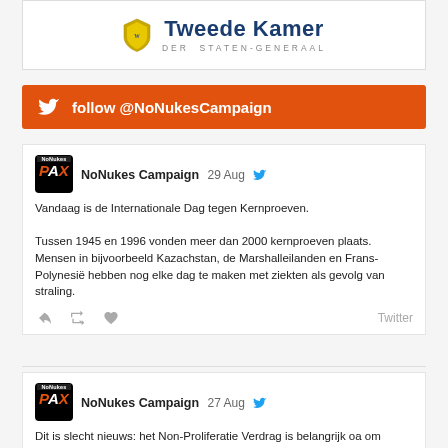[Figure (logo): Tweede Kamer der Staten-Generaal logo with shield emblem]
[Figure (infographic): Orange Twitter follow banner: follow @NoNukesCampaign]
NoNukes Campaign  29 Aug
Vandaag is de Internationale Dag tegen Kernproeven.

Tussen 1945 en 1996 vonden meer dan 2000 kernproeven plaats. Mensen in bijvoorbeeld Kazachstan, de Marshalleilanden en Frans-Polynesië hebben nog elke dag te maken met ziekten als gevolg van straling.
Twitter
NoNukes Campaign  27 Aug
Dit is slecht nieuws: het Non-Proliferatie Verdrag is belangrijk oa om verspreiding van kernwapens te